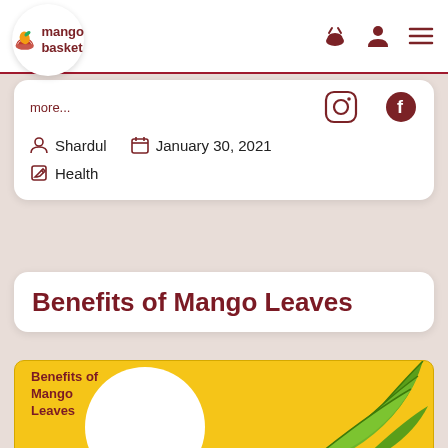mango basket — navigation bar with logo, basket icon, user icon, menu icon
more... [Instagram icon] [Facebook icon]
Shardul   January 30, 2021
Health
Benefits of Mango Leaves
[Figure (infographic): Yellow background infographic card showing 'Benefits of Mango Leaves' text on left and green mango leaves on right]